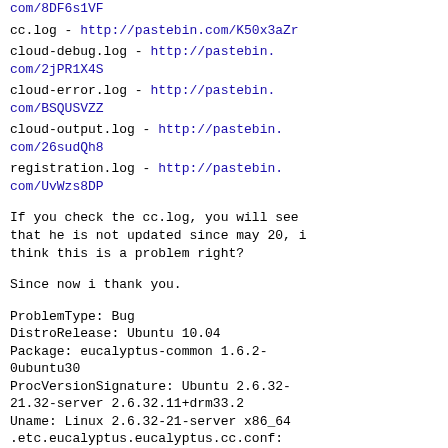com/8DF6s1VF
cc.log - http://pastebin.com/K50x3aZr
cloud-debug.log - http://pastebin.com/2jPR1X4S
cloud-error.log - http://pastebin.com/BSQUSVZZ
cloud-output.log - http://pastebin.com/26sudQh8
registration.log - http://pastebin.com/UvWzs8DP
If you check the cc.log, you will see that he is not updated since may 20, i think this is a problem right?
Since now i thank you.
ProblemType: Bug
DistroRelease: Ubuntu 10.04
Package: eucalyptus-common 1.6.2-0ubuntu30
ProcVersionSignature: Ubuntu 2.6.32-21.32-server 2.6.32.11+drm33.2
Uname: Linux 2.6.32-21-server x86_64
.etc.eucalyptus.eucalyptus.cc.conf: